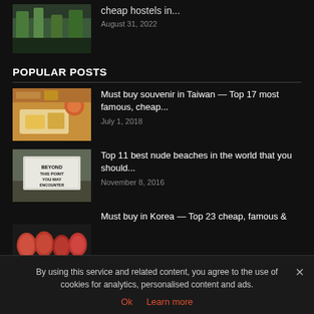[Figure (photo): Thumbnail image of a hostel/outdoor area with green plants, top of page]
cheap hostels in...
August 31, 2022
POPULAR POSTS
[Figure (photo): Thumbnail of Taiwan food - toast/bread on a white plate with orange drink]
Must buy souvenir in Taiwan — Top 17 most famous, cheap...
July 1, 2018
[Figure (photo): Thumbnail of a sign reading BEYOND THIS POINT YOU MAY ENCOUNTER NUDE SUNBATHERS]
Top 11 best nude beaches in the world that you should...
November 8, 2016
[Figure (photo): Thumbnail of Korean products/jars]
Must buy in Korea — Top 23 cheap, famous &
By using this service and related content, you agree to the use of cookies for analytics, personalised content and ads.
Ok   Learn more